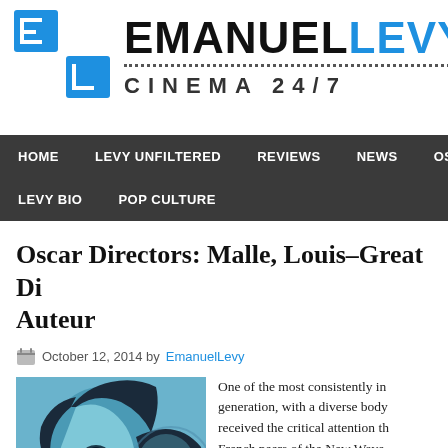[Figure (logo): Emanuel Levy Cinema 24/7 website logo with blue EL icon and black/blue text]
HOME | LEVY UNFILTERED | REVIEWS | NEWS | OSCA... | LEVY BIO | POP CULTURE
Oscar Directors: Malle, Louis–Great Di... Auteur
October 12, 2014 by EmanuelLevy
[Figure (illustration): Blue-toned artistic illustration of a woman's face in profile]
One of the most consistently in... generation, with a diverse body... received the critical attention th... French peers of the New Wave... Resnais, Rohmer. Unlike those... privileged family (as an heir to...